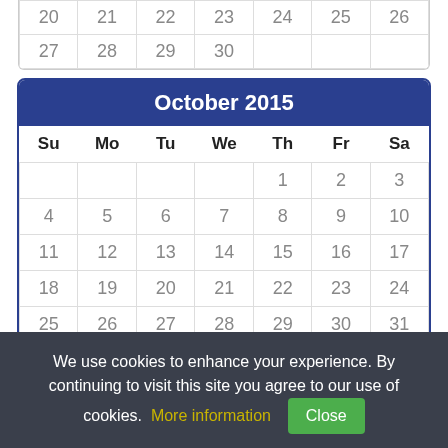| Su | Mo | Tu | We | Th | Fr | Sa |
| --- | --- | --- | --- | --- | --- | --- |
| 20 | 21 | 22 | 23 | 24 | 25 | 26 |
| 27 | 28 | 29 | 30 |  |  |  |
October 2015
| Su | Mo | Tu | We | Th | Fr | Sa |
| --- | --- | --- | --- | --- | --- | --- |
|  |  |  |  | 1 | 2 | 3 |
| 4 | 5 | 6 | 7 | 8 | 9 | 10 |
| 11 | 12 | 13 | 14 | 15 | 16 | 17 |
| 18 | 19 | 20 | 21 | 22 | 23 | 24 |
| 25 | 26 | 27 | 28 | 29 | 30 | 31 |
November 2015
We use cookies to enhance your experience. By continuing to visit this site you agree to our use of cookies. More information  Close